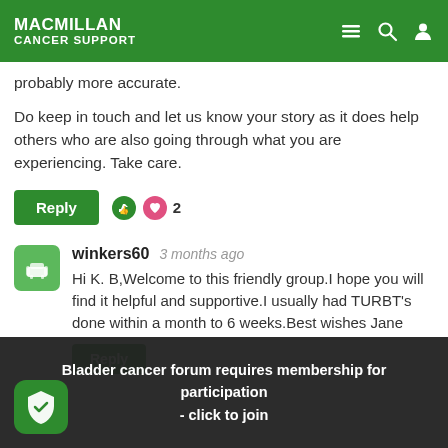MACMILLAN CANCER SUPPORT
probably more accurate.
Do keep in touch and let us know your story as it does help others who are also going through what you are experiencing. Take care.
winkers60   3 months ago
Hi K. B,Welcome to this friendly group.I hope you will find it helpful and supportive.I usually had TURBT's done within a month to 6 weeks.Best wishes Jane
Bladder cancer forum requires membership for participation - click to join